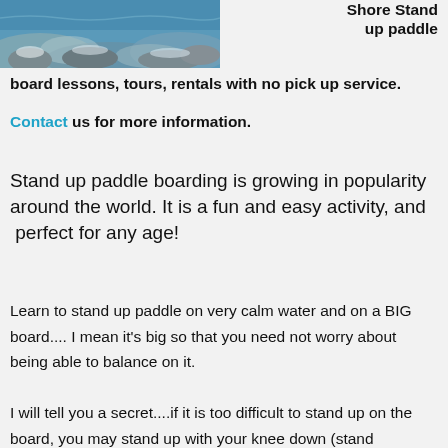[Figure (photo): Underwater or coastal rocky reef scene with blue water and rocks]
Shore Stand up paddle board lessons, tours, rentals with no pick up service.
Contact us for more information.
Stand up paddle boarding is growing in popularity around the world. It is a fun and easy activity, and  perfect for any age!
Learn to stand up paddle on very calm water and on a BIG board.... I mean it’s big so that you need not worry about being able to balance on it.
I will tell you a secret....if it is too difficult to stand up on the board, you may stand up with your knee down (stand